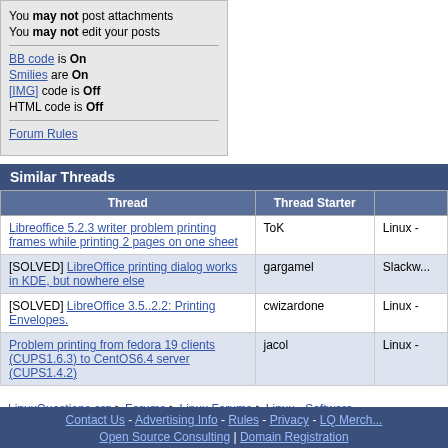You may not post attachments
You may not edit your posts
BB code is On
Smilies are On
[IMG] code is Off
HTML code is Off
Forum Rules
Similar Threads
| Thread | Thread Starter |  |
| --- | --- | --- |
| Libreoffice 5.2.3 writer problem printing frames while printing 2 pages on one sheet | ToK | Linux - |
| [SOLVED] LibreOffice printing dialog works in KDE, but nowhere else | gargamel | Slackw... |
| [SOLVED] LibreOffice 3.5..2.2: Printing Envelopes. | cwizardone | Linux - |
| Problem printing from fedora 19 clients (CUPS1.6.3) to CentOS6.4 server (CUPS1.4.2) | jacol | Linux - |
LinuxQuestions.org > Forums > Linux Forums > Linux - Software
All times are GMT -5. The time now is
Contact Us - Advertising Info - Rules - Privacy - LQ Merch
Open Source Consulting | Domain Registration